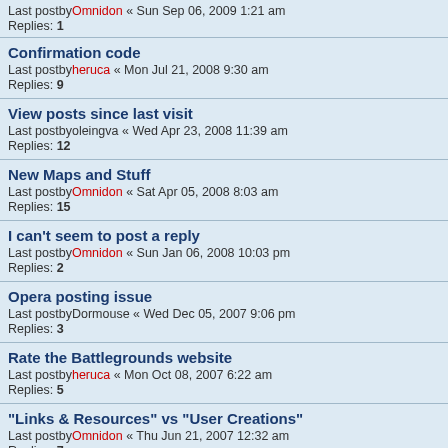Last postby Omnidon « Sun Sep 06, 2009 1:21 am
Replies: 1
Confirmation code
Last postby heruca « Mon Jul 21, 2008 9:30 am
Replies: 9
View posts since last visit
Last postby oleingva « Wed Apr 23, 2008 11:39 am
Replies: 12
New Maps and Stuff
Last postby Omnidon « Sat Apr 05, 2008 8:03 am
Replies: 15
I can't seem to post a reply
Last postby Omnidon « Sun Jan 06, 2008 10:03 pm
Replies: 2
Opera posting issue
Last postby Dormouse « Wed Dec 05, 2007 9:06 pm
Replies: 3
Rate the Battlegrounds website
Last postby heruca « Mon Oct 08, 2007 6:22 am
Replies: 5
"Links & Resources" vs "User Creations"
Last postby Omnidon « Thu Jun 21, 2007 12:32 am
Replies: 7
Site Downtime
Last postby heruca « Sat Jun 09, 2007 7:12 pm
Replies: 8
Server outage
Last postby Omnidon « Sat Jun 09, 2007 6:01 pm